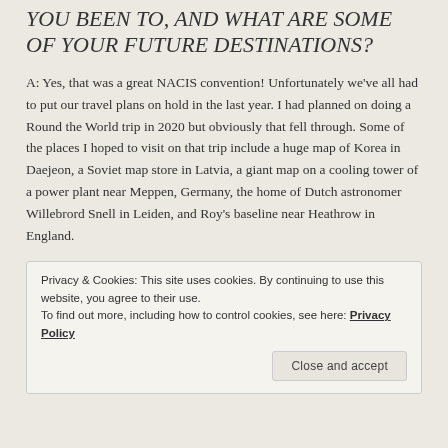YOU BEEN TO, AND WHAT ARE SOME OF YOUR FUTURE DESTINATIONS?
A: Yes, that was a great NACIS convention! Unfortunately we've all had to put our travel plans on hold in the last year. I had planned on doing a Round the World trip in 2020 but obviously that fell through. Some of the places I hoped to visit on that trip include a huge map of Korea in Daejeon, a Soviet map store in Latvia, a giant map on a cooling tower of a power plant near Meppen, Germany, the home of Dutch astronomer Willebrord Snell in Leiden, and Roy's baseline near Heathrow in England.
Privacy & Cookies: This site uses cookies. By continuing to use this website, you agree to their use.
To find out more, including how to control cookies, see here: Privacy Policy
Close and accept